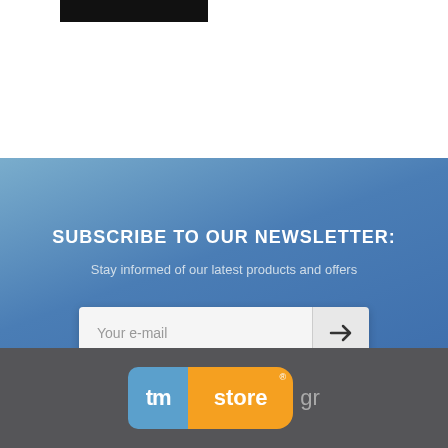[Figure (screenshot): Black bar/logo placeholder in top white section]
SUBSCRIBE TO OUR NEWSLETTER:
Stay informed of our latest products and offers
[Figure (other): Email subscription input field with arrow submit button]
[Figure (logo): tmstore.gr logo — blue tm box + orange store box + grey .gr text]